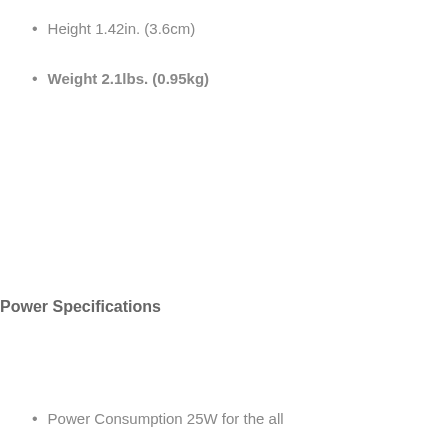Height 1.42in. (3.6cm)
Weight 2.1lbs. (0.95kg)
Power Specifications
Power Consumption 25W for the all...